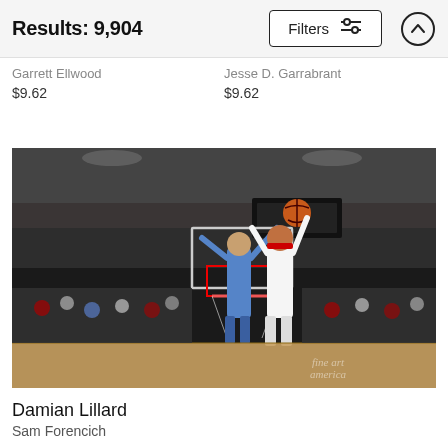Results: 9,904
Garrett Ellwood
$9.62
Jesse D. Garrabrant
$9.62
[Figure (photo): Basketball game photo showing Damian Lillard shooting over a defender in a packed arena. Portland Trail Blazers vs Oklahoma City Thunder. Fine Art America watermark visible in lower right.]
Damian Lillard
Sam Forencich